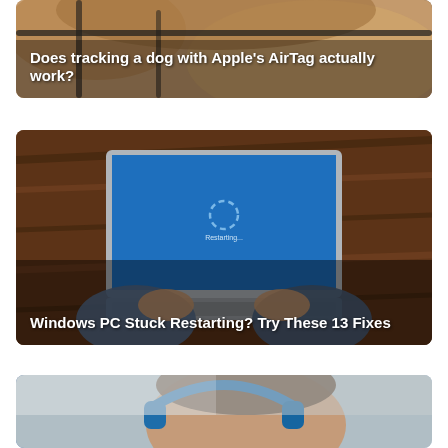[Figure (photo): Close-up photo of a dog wearing a harness, overlaid with white bold text reading 'Does tracking a dog with Apple's AirTag actually work?']
[Figure (photo): Overhead view of a person sitting on a wooden floor using a laptop showing a blue Windows restart screen, overlaid with white bold text reading 'Windows PC Stuck Restarting? Try These 13 Fixes']
[Figure (photo): Person wearing blue headphones, partially visible, taken from above at an angle]